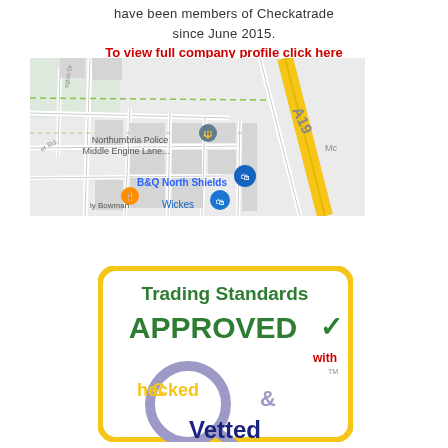have been members of Checkatrade since June 2015.
To view full company profile click here
[Figure (map): Google Maps screenshot showing area near B&Q North Shields, Northumbria Police Middle Engine Lane, Wickes, and the A19 road, with various map pins.]
[Figure (logo): Trading Standards Approved with Checked & Vetted logo badge — yellow border, green text 'Trading Standards APPROVED' with a green checkmark, and the Checked & Vetted magnifying glass logo in purple/yellow/navy.]